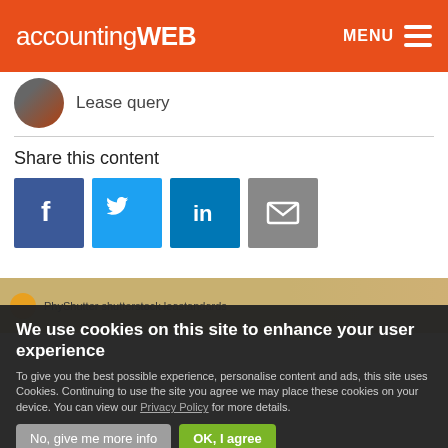accountingWEB  MENU
Lease query
Share this content
[Figure (infographic): Social share buttons: Facebook (blue), Twitter (light blue), LinkedIn (blue), Email (grey)]
[Figure (photo): Partial image strip with a yellow circle icon and caption text starting with PhyShutter shutterstock leastandards]
We use cookies on this site to enhance your user experience
To give you the best possible experience, personalise content and ads, this site uses Cookies. Continuing to use the site you agree we may place these cookies on your device. You can view our Privacy Policy for more details.
No, give me more info
OK, I agree